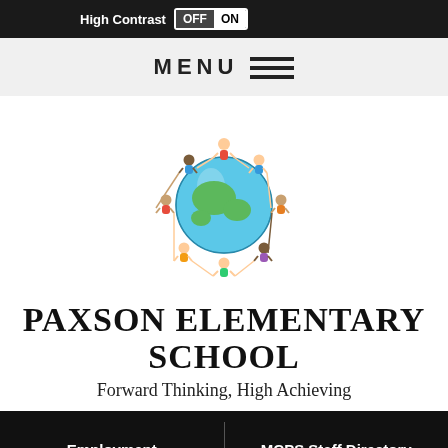High Contrast OFF ON
MENU
[Figure (logo): Cartoon children holding hands in a circle around a globe — Paxson Elementary School logo]
PAXSON ELEMENTARY SCHOOL
Forward Thinking, High Achieving
Employment
MCPS Staff Directory
View Full Site